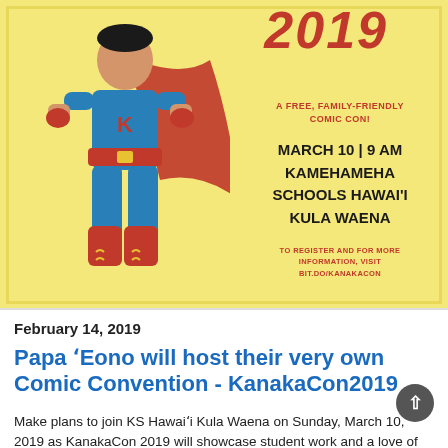[Figure (illustration): KanakaCon 2019 comic convention poster. Yellow background with a superhero character in blue suit and red cape on the left. Red bold '2019' in top right. Event details: 'A FREE, FAMILY-FRIENDLY COMIC CON!' March 10 | 9 AM, Kamehameha Schools Hawai'i Kula Waena. Register at bit.do/kanakacon.]
February 14, 2019
Papa ‘Eono will host their very own Comic Convention - KanakaCon2019
Make plans to join KS Hawai’i Kula Waena on Sunday, March 10, 2019 as KanakaCon 2019 will showcase student work and a love of mo’olelo through comics with the community.